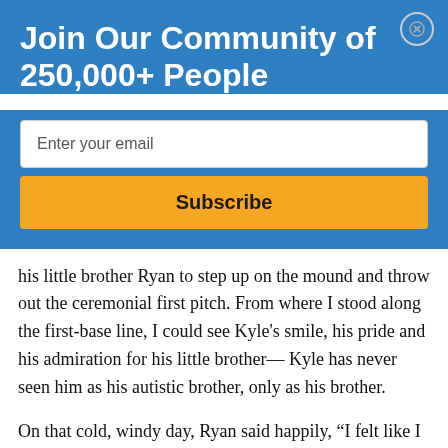Join Our Community of 250,000+ People
Enter your email
Subscribe
his little brother Ryan to step up on the mound and throw out the ceremonial first pitch. From where I stood along the first-base line, I could see Kyle's smile, his pride and his admiration for his little brother— Kyle has never seen him as his autistic brother, only as his brother.
On that cold, windy day, Ryan said happily, “I felt like I had fans for the first time ever today.” Little does Ryan know that, although there were many fans over the